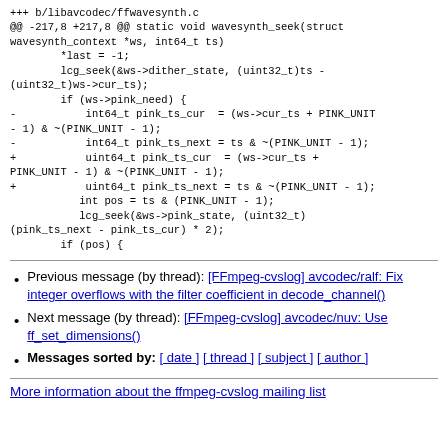+++ b/libavcodec/ffwavesynth.c
@@ -217,8 +217,8 @@ static void wavesynth_seek(struct wavesynth_context *ws, int64_t ts)
        *last = -1;
        lcg_seek(&ws->dither_state, (uint32_t)ts - (uint32_t)ws->cur_ts);
        if (ws->pink_need) {
-           int64_t pink_ts_cur  = (ws->cur_ts + PINK_UNIT - 1) & ~(PINK_UNIT - 1);
-           int64_t pink_ts_next = ts & ~(PINK_UNIT - 1);
+           uint64_t pink_ts_cur  = (ws->cur_ts + PINK_UNIT - 1) & ~(PINK_UNIT - 1);
+           uint64_t pink_ts_next = ts & ~(PINK_UNIT - 1);
           int pos = ts & (PINK_UNIT - 1);
           lcg_seek(&ws->pink_state, (uint32_t)(pink_ts_next - pink_ts_cur) * 2);
           if (pos) {
Previous message (by thread): [FFmpeg-cvslog] avcodec/ralf: Fix integer overflows with the filter coefficients in decode_channel()
Next message (by thread): [FFmpeg-cvslog] avcodec/nuv: Use ff_set_dimensions()
Messages sorted by: [ date ] [ thread ] [ subject ] [ author ]
More information about the ffmpeg-cvslog mailing list